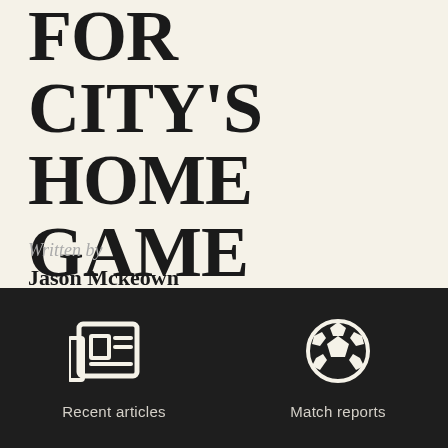FOR CITY'S HOME GAME WITH NOTTS COUNTY
Written by
Jason Mckeown
[Figure (infographic): Navigation bar with two icons on dark background: a newspaper/articles icon labeled 'Recent articles' and a soccer ball icon labeled 'Match reports']